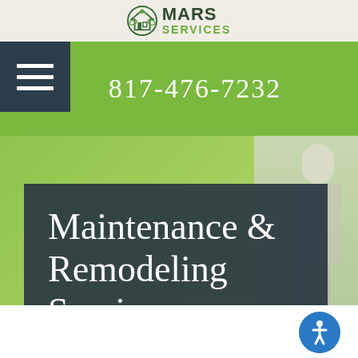[Figure (logo): MARS SERVICES logo with house icon]
817-476-7232
Maintenance & Remodeling Services
[Figure (illustration): Accessibility icon button (blue circle with person figure)]